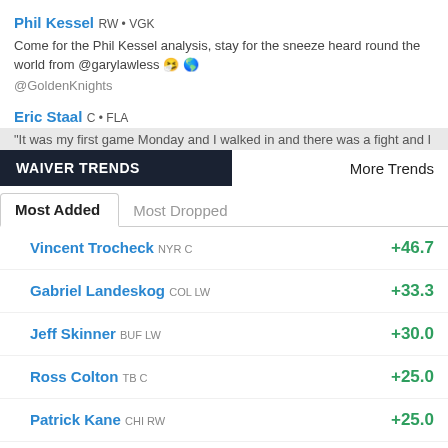Phil Kessel RW • VGK
Come for the Phil Kessel analysis, stay for the sneeze heard round the world from @garylawless 🤧 🌎
@GoldenKnights
Eric Staal C • FLA
"It was my first game Monday and I walked in and there was a fight and I
WAIVER TRENDS
More Trends
Most Added | Most Dropped
Vincent Trocheck NYR C  +46.7
Gabriel Landeskog COL LW  +33.3
Jeff Skinner BUF LW  +30.0
Ross Colton TB C  +25.0
Patrick Kane CHI RW  +25.0
Ryan Hartman MIN RW  +25.0
Victor Olofsson BUF LW  +25.0